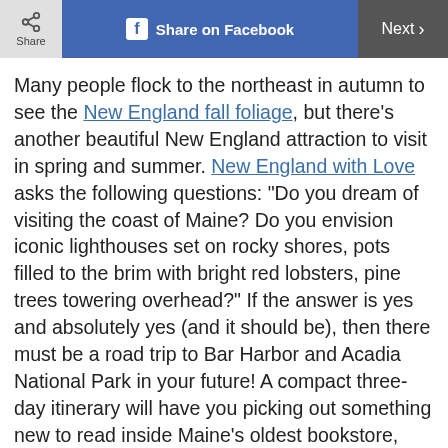Share | Share on Facebook | Next >
Many people flock to the northeast in autumn to see the New England fall foliage, but there's another beautiful New England attraction to visit in spring and summer. New England with Love asks the following questions: “Do you dream of visiting the coast of Maine? Do you envision iconic lighthouses set on rocky shores, pots filled to the brim with bright red lobsters, pine trees towering overhead?” If the answer is yes and absolutely yes (and it should be), then there must be a road trip to Bar Harbor and Acadia National Park in your future! A compact three-day itinerary will have you picking out something new to read inside Maine’s oldest bookstore, listening to the